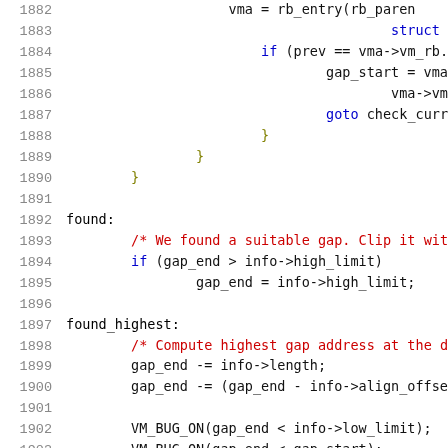Source code listing lines 1882-1903 showing C kernel code with found: and found_highest: labels, if/goto statements, comments about gap handling, and VM_BUG_ON assertions.